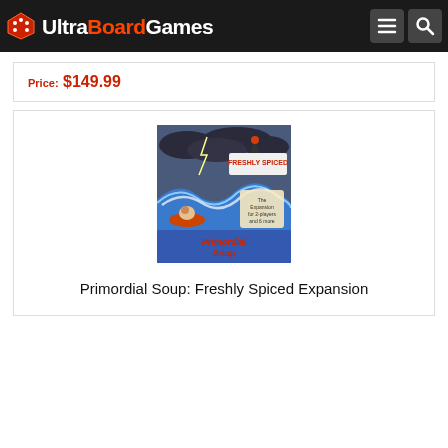UltraBoardGames
Price: $149.99
[Figure (photo): Board game box cover for Primordial Soup: Freshly Spiced Expansion, showing cartoon sea creatures in a stormy ocean]
Primordial Soup: Freshly Spiced Expansion